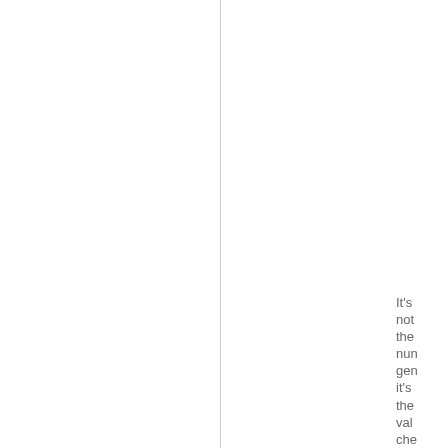It's not the num gen it's the val che Wh the ga pul out a ran iss it